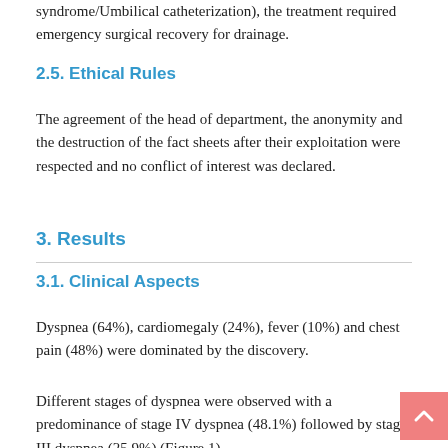syndrome/Umbilical catheterization), the treatment required emergency surgical recovery for drainage.
2.5. Ethical Rules
The agreement of the head of department, the anonymity and the destruction of the fact sheets after their exploitation were respected and no conflict of interest was declared.
3. Results
3.1. Clinical Aspects
Dyspnea (64%), cardiomegaly (24%), fever (10%) and chest pain (48%) were dominated by the discovery.
Different stages of dyspnea were observed with a predominance of stage IV dyspnea (48.1%) followed by stage III dyspnea (25.9%) (Figure 1).